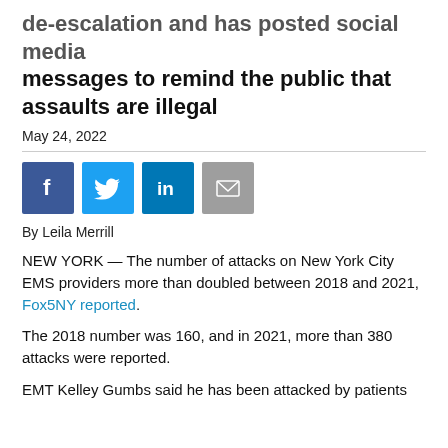de-escalation and has posted social media messages to remind the public that assaults are illegal
May 24, 2022
[Figure (infographic): Social media share icons: Facebook (blue), Twitter (light blue), LinkedIn (blue), Email (gray)]
By Leila Merrill
NEW YORK — The number of attacks on New York City EMS providers more than doubled between 2018 and 2021, Fox5NY reported.
The 2018 number was 160, and in 2021, more than 380 attacks were reported.
EMT Kelley Gumbs said he has been attacked by patients